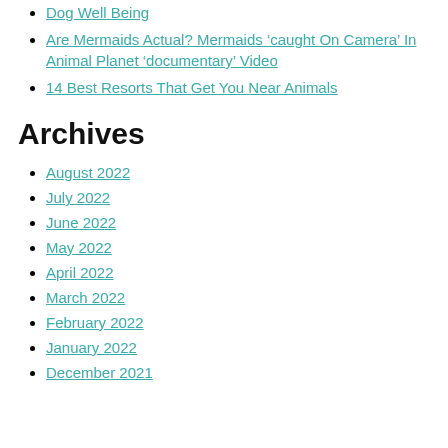Dog Well Being
Are Mermaids Actual? Mermaids ‘caught On Camera’ In Animal Planet ‘documentary’ Video
14 Best Resorts That Get You Near Animals
Archives
August 2022
July 2022
June 2022
May 2022
April 2022
March 2022
February 2022
January 2022
December 2021